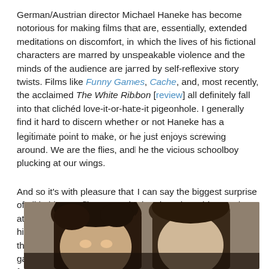German/Austrian director Michael Haneke has become notorious for making films that are, essentially, extended meditations on discomfort, in which the lives of his fictional characters are marred by unspeakable violence and the minds of the audience are jarred by self-reflexive story twists. Films like Funny Games, Cache, and, most recently, the acclaimed The White Ribbon [review] all definitely fall into that clichéd love-it-or-hate-it pigeonhole. I generally find it hard to discern whether or not Haneke has a legitimate point to make, or he just enjoys screwing around. We are the flies, and he the vicious schoolboy plucking at our wings.
And so it's with pleasure that I can say the biggest surprise of all in his new film Amour is that there is no big surprise at all. The con man has put away his shells and left all of his secrets exposed. It makes for a powerful drama, one that has rightly been topping many critics' polls and gathering up awards, including a Golden Globe for best foreign film.
[Figure (photo): Partial photo showing two people's heads/faces, cropped at the bottom of the page]